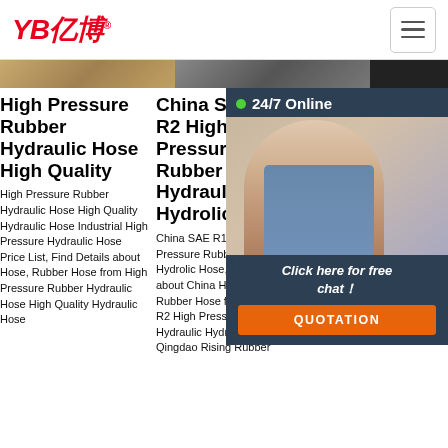YB亿博® — navigation header with hamburger menu
[Figure (photo): Three product image thumbnails in a row: rope/textile, metal, dark background]
High Pressure Rubber Hydraulic Hose High Quality
High Pressure Rubber Hydraulic Hose High Quality Hydraulic Hose Industrial High Pressure Hydraulic Hose Price List, Find Details about Hose, Rubber Hose from High Pressure Rubber Hydraulic Hose High Quality Hydraulic Hose
China SAE R1 R2 High Pressure Rubber Hydraulic Hydrolic ...
China SAE R1 R2 High Pressure Rubber Hydraulic Hydrolic Hose, Find details about China Hydraulic Hose, Rubber Hose from SAE R1 R2 High Pressure Rubber Hydraulic Hydrolic Hose - Qingdao Rising Rubber
En857 1sc 2sc Flexible Rubber Hose for Pressure Industrial Fo
En857 1sc 2sc Flexible Rubber Hose for Pressure Industrial, Find Details about Hydraulic Hose, High Pressure Hose from En857 1sc 2schydraulic Hose Flexible Rubber Hose for Pressure Industrial - HEBEI
[Figure (screenshot): 24/7 Online live chat overlay with woman wearing headset, 'Click here for free chat!' text, and orange QUOTATION button]